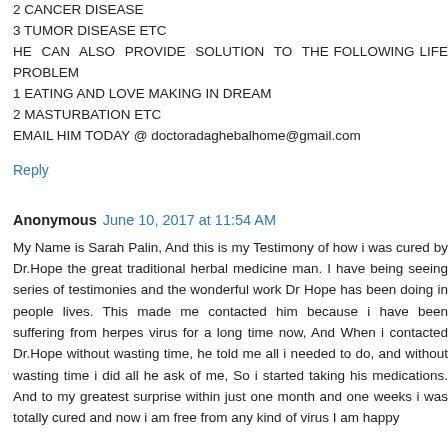2 CANCER DISEASE
3 TUMOR DISEASE ETC
HE CAN ALSO PROVIDE SOLUTION TO THE FOLLOWING LIFE PROBLEM
1 EATING AND LOVE MAKING IN DREAM
2 MASTURBATION ETC
EMAIL HIM TODAY @ doctoradaghebalhome@gmail.com
Reply
Anonymous  June 10, 2017 at 11:54 AM
My Name is Sarah Palin, And this is my Testimony of how i was cured by Dr.Hope the great traditional herbal medicine man. I have being seeing series of testimonies and the wonderful work Dr Hope has been doing in people lives. This made me contacted him because i have been suffering from herpes virus for a long time now, And When i contacted Dr.Hope without wasting time, he told me all i needed to do, and without wasting time i did all he ask of me, So i started taking his medications. And to my greatest surprise within just one month and one weeks i was totally cured and now i am free from any kind of virus I am happy